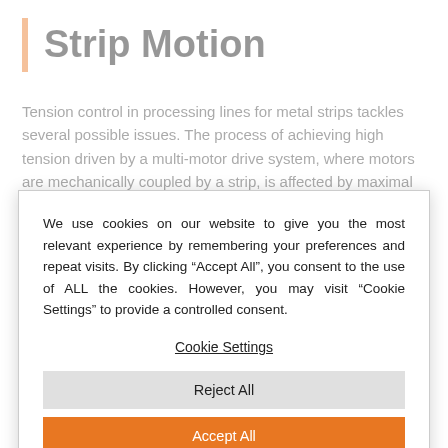Strip Motion
Tension control in processing lines for metal strips tackles several possible issues. The process of achieving high tension driven by a multi-motor drive system, where motors are mechanically coupled by a strip, is affected by maximal torque
We use cookies on our website to give you the most relevant experience by remembering your preferences and repeat visits. By clicking “Accept All”, you consent to the use of ALL the cookies. However, you may visit “Cookie Settings” to provide a controlled consent.
Cookie Settings
Reject All
Accept All